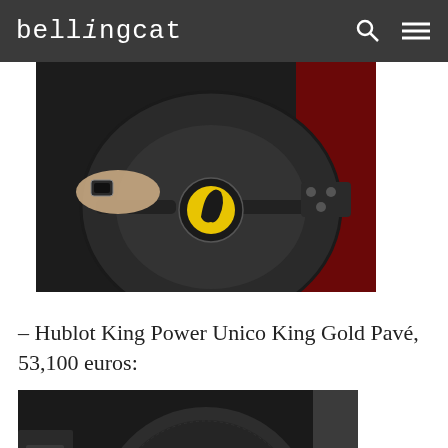bellingcat
[Figure (photo): Close-up photo of a Ferrari steering wheel interior, showing a hand with a wristwatch on the wheel, Ferrari prancing horse logo visible on the center hub, with red accents visible in the background.]
– Hublot King Power Unico King Gold Pavé, 53,100 euros:
[Figure (photo): Close-up photo of a Shelby Cobra steering wheel center hub with a chrome snake logo emblem on a dark textured steering wheel, car interior controls visible on the left side.]